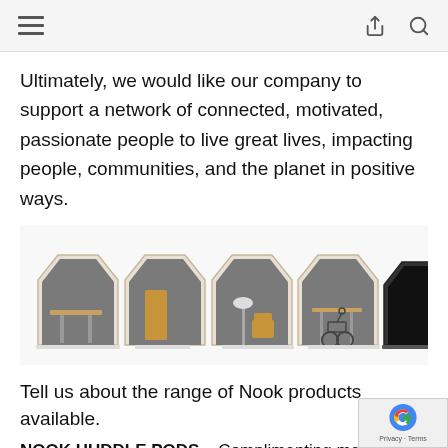Ultimately, we would like our company to support a network of connected, motivated, passionate people to live great lives, impacting people, communities, and the planet in positive ways.
[Figure (photo): Five modular office huddle pods lined up side by side, showing different interior configurations including desks, chairs, a lamp, and one wheelchair-accessible pod, with light wood exterior frames and grey interiors; the last pod is black.]
Tell us about the range of Nook products available.
NOOK HUDDLE PODS – Complimenting meeting rooms with flexible huddle solutions allows mo...